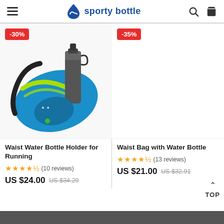sporty bottle
[Figure (photo): Waist water bottle holder for running – blue bag with teal yellow stripe, dark water bottle inserted, -30% badge]
[Figure (photo): Waist bag product image area with -35% discount badge, product image not visible]
Waist Water Bottle Holder for Running
★★★★½ (10 reviews)
US $24.00  US $34.29
Waist Bag with Water Bottle
★★★★½ (13 reviews)
US $21.00  US $32.91